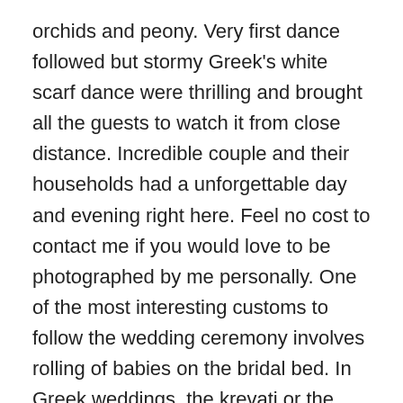orchids and peony. Very first dance followed but stormy Greek's white scarf dance were thrilling and brought all the guests to watch it from close distance. Incredible couple and their households had a unforgettable day and evening right here. Feel no cost to contact me if you would love to be photographed by me personally. One of the most interesting customs to follow the wedding ceremony involves rolling of babies on the bridal bed. In Greek weddings, the krevati or the making of the bridal bed is an important ritual and commonly takes places two days before the wedding.
Toronto wedding photographer specializing in urban weddings. My organization is following the suggestions